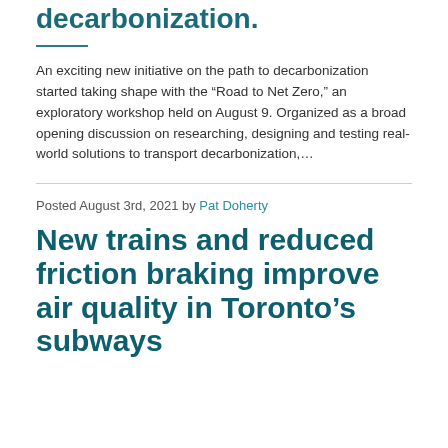decarbonization.
An exciting new initiative on the path to decarbonization started taking shape with the “Road to Net Zero,” an exploratory workshop held on August 9. Organized as a broad opening discussion on researching, designing and testing real-world solutions to transport decarbonization,…
Posted August 3rd, 2021 by Pat Doherty
New trains and reduced friction braking improve air quality in Toronto’s subways